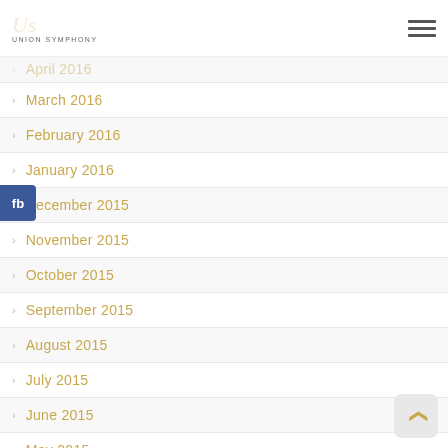US Union Symphony
April 2016
March 2016
February 2016
January 2016
December 2015
November 2015
October 2015
September 2015
August 2015
July 2015
June 2015
May 2015
April 2015
March 2015
February 2015